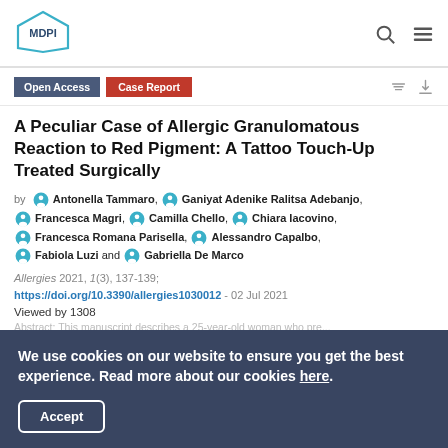[Figure (logo): MDPI logo — hexagon outline with 'MDPI' text inside]
Open Access  Case Report
A Peculiar Case of Allergic Granulomatous Reaction to Red Pigment: A Tattoo Touch-Up Treated Surgically
by  Antonella Tammaro,  Ganiyat Adenike Ralitsa Adebanjo,  Francesca Magri,  Camilla Chello,  Chiara Iacovino,  Francesca Romana Parisella,  Alessandro Capalbo,  Fabiola Luzi and  Gabriella De Marco
Allergies 2021, 1(3), 137-139; https://doi.org/10.3390/allergies1030012 - 02 Jul 2021
Viewed by 1308
We use cookies on our website to ensure you get the best experience. Read more about our cookies here.
Accept